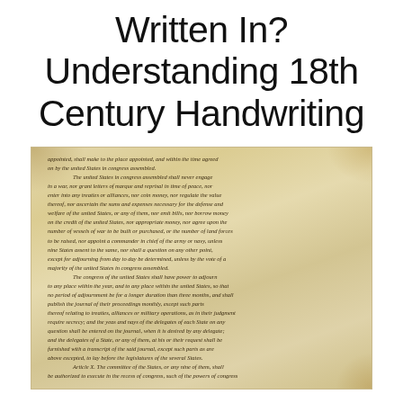Written In? Understanding 18th Century Handwriting
[Figure (photo): A photograph of an aged parchment document written in 18th century cursive handwriting, showing text from what appears to be the Articles of Confederation or similar founding-era American document. The parchment is yellowed and browned, with dense italic script filling the page. Article X is partially visible at the bottom.]